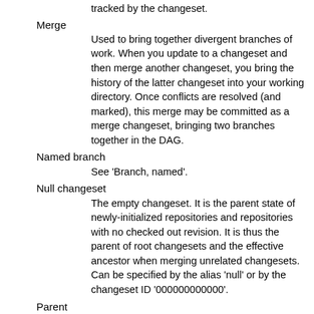tracked by the changeset.
Merge
    Used to bring together divergent branches of work. When you update to a changeset and then merge another changeset, you bring the history of the latter changeset into your working directory. Once conflicts are resolved (and marked), this merge may be committed as a merge changeset, bringing two branches together in the DAG.
Named branch
    See 'Branch, named'.
Null changeset
    The empty changeset. It is the parent state of newly-initialized repositories and repositories with no checked out revision. It is thus the parent of root changesets and the effective ancestor when merging unrelated changesets. Can be specified by the alias 'null' or by the changeset ID '000000000000'.
Parent
    See 'Changeset, parent'.